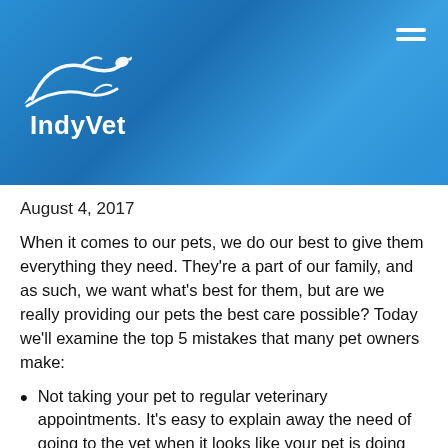[Figure (logo): IndyVet logo with animal silhouette on blue background header with hamburger menu icon]
August 4, 2017
When it comes to our pets, we do our best to give them everything they need. They're a part of our family, and as such, we want what's best for them, but are we really providing our pets the best care possible? Today we'll examine the top 5 mistakes that many pet owners make:
Not taking your pet to regular veterinary appointments. It's easy to explain away the need of going to the vet when it looks like your pet is doing fine, but they can't talk to you and tell you when something might be wrong, so